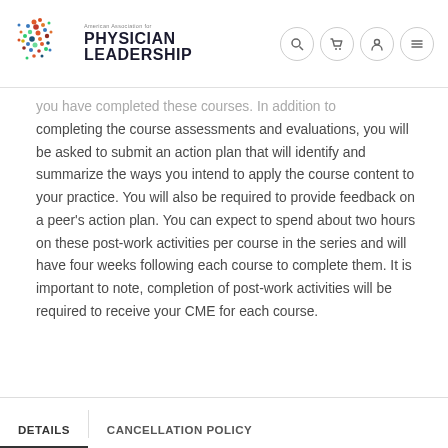American Association for Physician Leadership
you have completed these courses. In addition to completing the course assessments and evaluations, you will be asked to submit an action plan that will identify and summarize the ways you intend to apply the course content to your practice. You will also be required to provide feedback on a peer's action plan. You can expect to spend about two hours on these post-work activities per course in the series and will have four weeks following each course to complete them. It is important to note, completion of post-work activities will be required to receive your CME for each course.
DETAILS | CANCELLATION POLICY